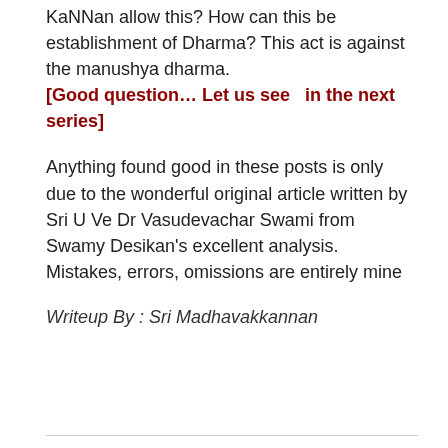KaNNan allow this? How can this be establishment of Dharma? This act is against the manushya dharma. [Good question… Let us see  in the next series]
Anything found good in these posts is only due to the wonderful original article written by Sri U Ve Dr Vasudevachar Swami from Swamy Desikan's excellent analysis. Mistakes, errors, omissions are entirely mine
Writeup By : Sri Madhavakkannan